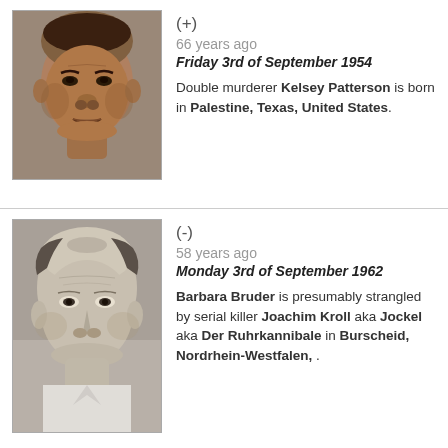[Figure (photo): Black and white portrait photo of Kelsey Patterson]
(+)
66 years ago
Friday 3rd of September 1954

Double murderer Kelsey Patterson is born in Palestine, Texas, United States.
[Figure (photo): Black and white portrait photo of Joachim Kroll]
(-)
58 years ago
Monday 3rd of September 1962

Barbara Bruder is presumably strangled by serial killer Joachim Kroll aka Jockel aka Der Ruhrkannibale in Burscheid, Nordrhein-Westfalen, .
(x)
49 years ago